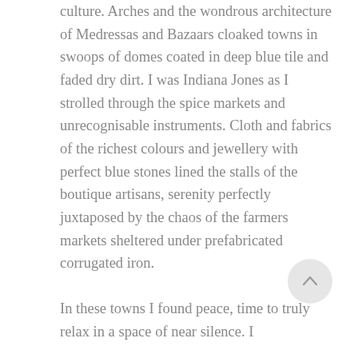culture. Arches and the wondrous architecture of Medressas and Bazaars cloaked towns in swoops of domes coated in deep blue tile and faded dry dirt. I was Indiana Jones as I strolled through the spice markets and unrecognisable instruments. Cloth and fabrics of the richest colours and jewellery with perfect blue stones lined the stalls of the boutique artisans, serenity perfectly juxtaposed by the chaos of the farmers markets sheltered under prefabricated corrugated iron.
In these towns I found peace, time to truly relax in a space of near silence. I